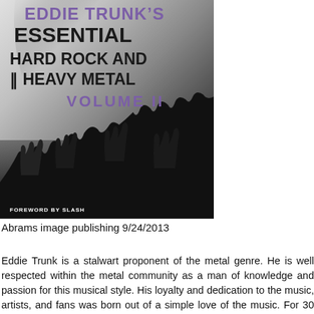[Figure (photo): Book cover of 'Eddie Trunk's Essential Hard Rock and Heavy Metal Volume II' published by Abrams Image. Black and white photo of a concert crowd with hands raised. Text on cover includes title in dark and purple lettering, 'VOLUME II' in purple, and 'FOREWORD BY SLASH' at the bottom left.]
Abrams image publishing 9/24/2013
Eddie Trunk is a stalwart proponent of the metal genre. He is well respected within the metal community as a man of knowledge and passion for this musical style. His loyalty and dedication to the music, artists, and fans was born out of a simple love of the music. For 30 Years he has been lea...